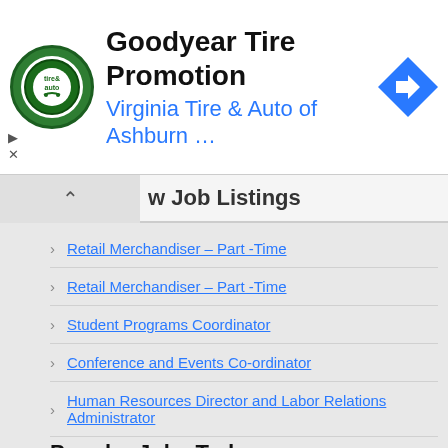[Figure (infographic): Goodyear Tire Promotion advertisement banner with Virginia Tire & Auto of Ashburn logo and navigation arrow icon]
w Job Listings
Retail Merchandiser – Part -Time
Retail Merchandiser – Part -Time
Student Programs Coordinator
Conference and Events Co-ordinator
Human Resources Director and Labor Relations Administrator
Popular Jobs Today
What Happened to Bedpage (16 views)
Campus Voter Registration Organizer (11 views)
Event Operations Lead (10 views)
Professional Chatter for adult site (9 views)
Retail Merchandiser--Louisville, KY (8 views)
Conference and Events Co-ordinator (8 views)
Student Programs Coordinator (8 views)
Get Out the Vote Field Director (7 views)